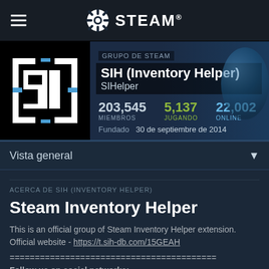STEAM®
[Figure (logo): SIH (Steam Inventory Helper) group logo — white stylized SIH letters in brackets on black background]
GRUPO DE STEAM
SIH (Inventory Helper) SIHelper
203,545 MIEMBROS   5,137 JUGANDO   22,002 ONLINE
Fundado   30 de septiembre de 2014
Vista general
ACERCA DE SIH (INVENTORY HELPER)
Steam Inventory Helper
This is an official group of Steam Inventory Helper extension. Official website - https://t.sih-db.com/15GEAH
=========================================
Follow us on social networks: